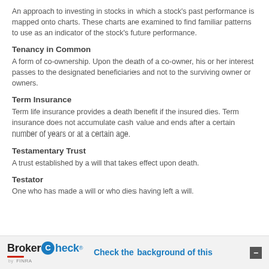An approach to investing in stocks in which a stock's past performance is mapped onto charts. These charts are examined to find familiar patterns to use as an indicator of the stock's future performance.
Tenancy in Common
A form of co-ownership. Upon the death of a co-owner, his or her interest passes to the designated beneficiaries and not to the surviving owner or owners.
Term Insurance
Term life insurance provides a death benefit if the insured dies. Term insurance does not accumulate cash value and ends after a certain number of years or at a certain age.
Testamentary Trust
A trust established by a will that takes effect upon death.
Testator
One who has made a will or who dies having left a will.
BrokerCheck by FINRA — Check the background of this